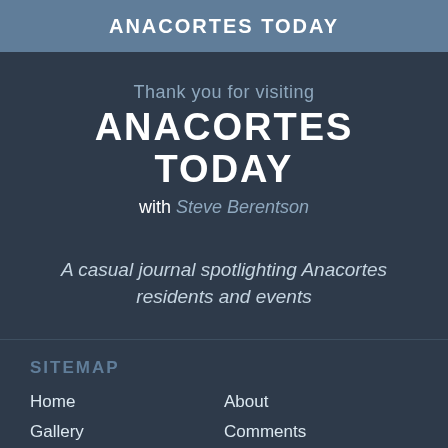ANACORTES TODAY
Thank you for visiting
ANACORTES TODAY
with Steve Berentson
A casual journal spotlighting Anacortes residents and events
SITEMAP
Home
Gallery
In the News
About
Comments
Contact
« PREVIOUS PHOTO    NEXT PHOTO »